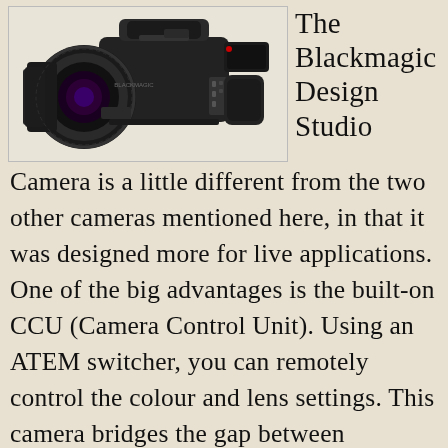[Figure (photo): Photo of a Blackmagic Design Studio Camera, a large professional broadcast-style video camera shown at an angle, with a large lens on the left and body/handle on the right. The camera is black.]
The Blackmagic Design Studio Camera
Camera is a little different from the two other cameras mentioned here, in that it was designed more for live applications. One of the big advantages is the built-on CCU (Camera Control Unit). Using an ATEM switcher, you can remotely control the colour and lens settings. This camera bridges the gap between professional broadcast cameras with their professional CCU remote control, and every other camera in the market.